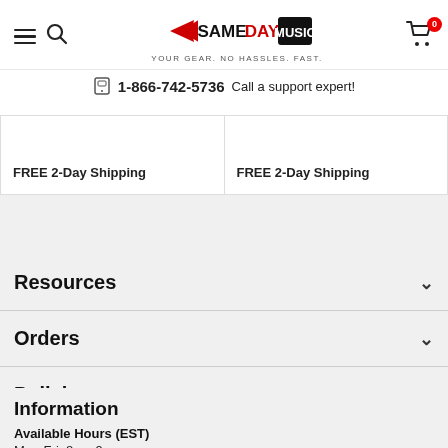Same Day Music — YOUR GEAR. NO HASSLES. FAST.
1-866-742-5736  Call a support expert!
FREE 2-Day Shipping
FREE 2-Day Shipping
Resources
Orders
Policies
Information
Available Hours (EST)
Mon-Fri: 8am-9pm